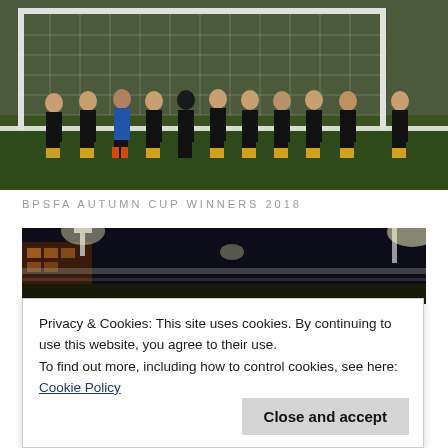[Figure (photo): Soccer team photo standing in front of goal post on grass field during daytime, players wearing black and yellow kit]
BPSFA AUTUMN CUP WINNERS 2018
[Figure (photo): Night football match photo showing stadium lights, building in background, players at bottom]
Privacy & Cookies: This site uses cookies. By continuing to use this website, you agree to their use.
To find out more, including how to control cookies, see here: Cookie Policy
Close and accept